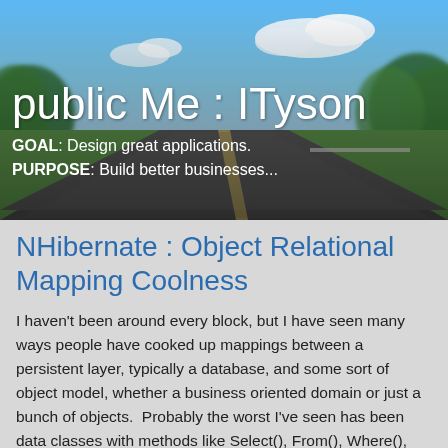[Figure (photo): A road stretching into the distance under a blue sky with white clouds and green trees on both sides, used as a blog header background image.]
public Me : ITyson
GOAL: Design great applications.
PURPOSE: Build better businesses...
NHibernate : Object Relational Mapping Coolness
I haven't been around every block, but I have seen many ways people have cooked up mappings between a persistent layer, typically a database, and some sort of object model, whether a business oriented domain or just a bunch of objects.  Probably the worst I've seen has been data classes with methods like Select(), From(), Where(), Group() and bits and pieces of dynamic sql spilled all over.  It was impossible to follow or comprehend.  I've seen other approaches, including myself, that is